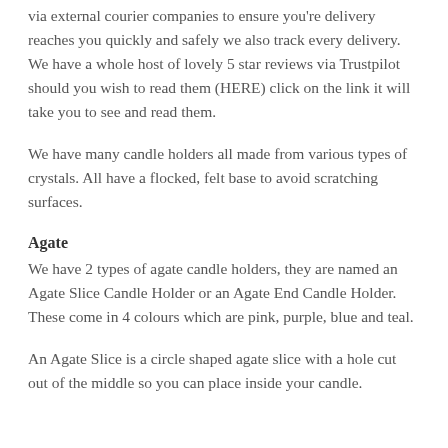via external courier companies to ensure you're delivery reaches you quickly and safely we also track every delivery. We have a whole host of lovely 5 star reviews via Trustpilot should you wish to read them (HERE) click on the link it will take you to see and read them.
We have many candle holders all made from various types of crystals. All have a flocked, felt base to avoid scratching surfaces.
Agate
We have 2 types of agate candle holders, they are named an Agate Slice Candle Holder or an Agate End Candle Holder. These come in 4 colours which are pink, purple, blue and teal.
An Agate Slice is a circle shaped agate slice with a hole cut out of the middle so you can place inside your candle.